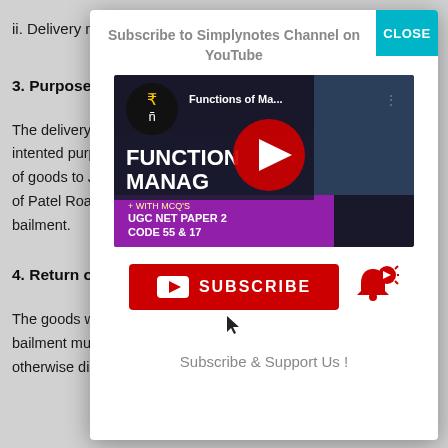ii. Delivery m…
3. Purpose
The delivery … intented purp… of goods to J… of Patel Roa… bailment.
4. Return of
The goods w… bailment mu… otherwise disposed off according to the
[Figure (screenshot): YouTube subscribe modal overlay showing 'Subscribe to Simplynotes Channel on YouTube' heading, a video thumbnail for 'Functions of Ma...' (UGC NET PAPER 2 CODE 55 & 17), a red SUBSCRIBE button with bell icon, and 'Subscribe & Support Us!' text. A teal CLOSE button appears in the top right corner.]